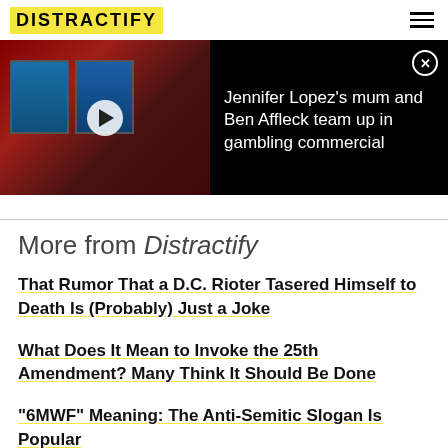DISTRACTIFY
[Figure (screenshot): Video thumbnail showing a woman at casino slot machines with a play button overlay]
Jennifer Lopez's mum and Ben Affleck team up in gambling commercial
More from Distractify
That Rumor That a D.C. Rioter Tasered Himself to Death Is (Probably) Just a Joke
What Does It Mean to Invoke the 25th Amendment? Many Think It Should Be Done
"6MWF" Meaning: The Anti-Semitic Slogan Is Popular